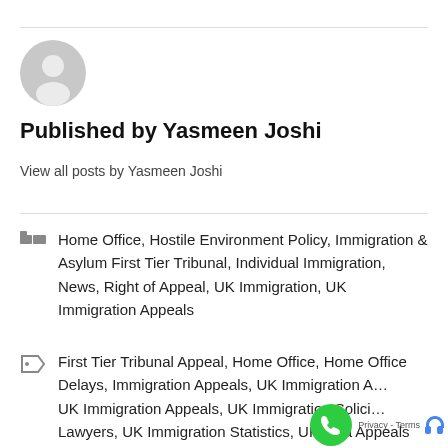[Figure (illustration): Gray circular avatar/profile icon placeholder]
Published by Yasmeen Joshi
View all posts by Yasmeen Joshi
Home Office, Hostile Environment Policy, Immigration & Asylum First Tier Tribunal, Individual Immigration, News, Right of Appeal, UK Immigration, UK Immigration Appeals
First Tier Tribunal Appeal, Home Office, Home Office Delays, Immigration Appeals, UK Immigration A… UK Immigration Appeals, UK Immigration Solici… Lawyers, UK Immigration Statistics, UK Visa Appeals